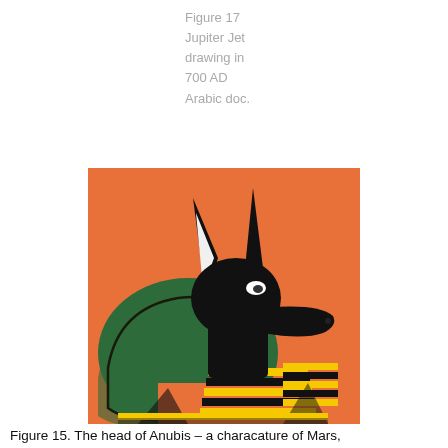Figure 17
Jupiter Jet
drawing in
700 AD
Arabic doc.
[Figure (illustration): Egyptian illustration of Anubis, the jackal-headed god, depicted with a black animal head with tall ears, green cape/shawl, and yellow-striped collar/garment, on an orange background.]
Figure 15. The head of Anubis – a characature of Mars,